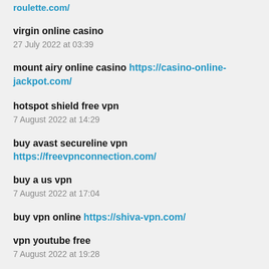roulette.com/
virgin online casino
27 July 2022 at 03:39
mount airy online casino https://casino-online-jackpot.com/
hotspot shield free vpn
7 August 2022 at 14:29
buy avast secureline vpn https://freevpnconnection.com/
buy a us vpn
7 August 2022 at 17:04
buy vpn online https://shiva-vpn.com/
vpn youtube free
7 August 2022 at 19:28
best paid vpn https://freehostingvpn.com/
buy avast vpn